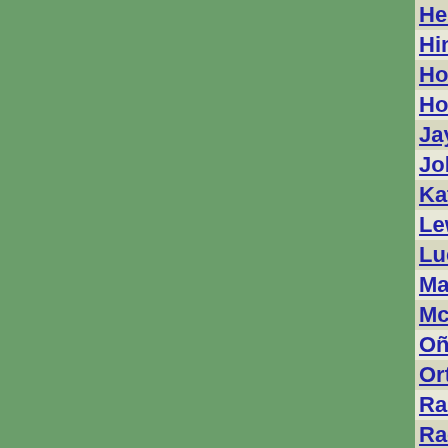| Name | State |
| --- | --- |
| Hemmene, William | Iowa |
| Hintze, Jerry | Texas |
| Hocking, Ronald | Iowa |
| Houston, Ben | Texas |
| Jayatillake, Kannangara | Texas |
| Johnson, Walter | Texas |
| Katiyar, Anand | Texas |
| Lewish, William | Iowa |
| Lucas, James | Texas |
| Matis, James | Texas |
| McGuire, Sterling | Texas |
| Oñate, Burton | Iowa |
| Ortiz, Jr., Melchor | Texas |
| Rainosek, Alvin | Texas |
| Rao, Jon | Iowa |
| Ringer, Larry | Texas |
| Smith, Lee | Texas |
| Smith, William | Texas |
| Soedardjo, Suharto | Texas |
| Vaughn, William | Texas |